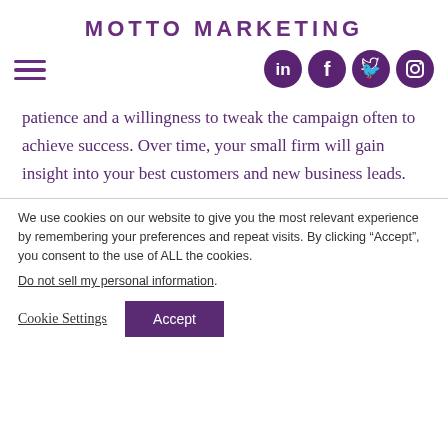MOTTO MARKETING
[Figure (logo): Hamburger menu icon (three horizontal purple lines) on the left, and four circular social media icons (LinkedIn, Facebook, Twitter, Instagram) in dark purple on the right]
patience and a willingness to tweak the campaign often to achieve success. Over time, your small firm will gain insight into your best customers and new business leads.
We use cookies on our website to give you the most relevant experience by remembering your preferences and repeat visits. By clicking “Accept”, you consent to the use of ALL the cookies. Do not sell my personal information.
Cookie Settings | Accept